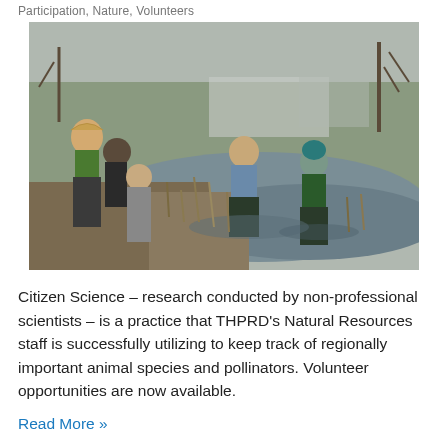Participation, Nature, Volunteers
[Figure (photo): Group of people standing in a wetland/marsh area with shallow water and dead vegetation, some wearing waders, in a cold-weather outdoor setting with bare trees and a building in the background.]
Citizen Science – research conducted by non-professional scientists – is a practice that THPRD's Natural Resources staff is successfully utilizing to keep track of regionally important animal species and pollinators. Volunteer opportunities are now available.
Read More »